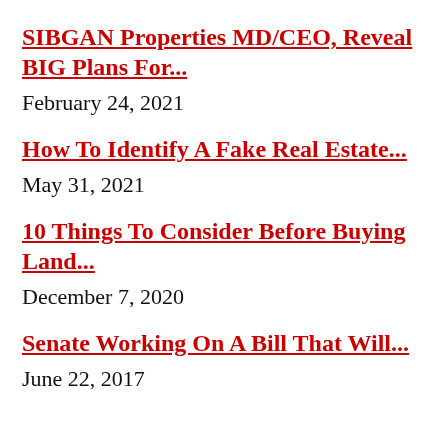SIBGAN Properties MD/CEO, Reveal BIG Plans For...
February 24, 2021
How To Identify A Fake Real Estate...
May 31, 2021
10 Things To Consider Before Buying Land...
December 7, 2020
Senate Working On A Bill That Will...
June 22, 2017